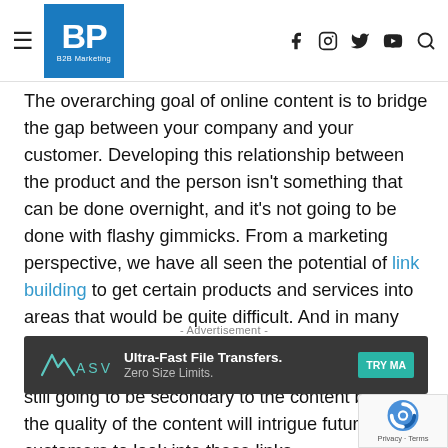BP B2B Marketing — header with hamburger menu, logo, and social icons (f, Instagram, Twitter, YouTube, Search)
The overarching goal of online content is to bridge the gap between your company and your customer. Developing this relationship between the product and the person isn't something that can be done overnight, and it's not going to be done with flashy gimmicks. From a marketing perspective, we have all seen the potential of link building to get certain products and services into areas that would be quite difficult. And in many respects it's a cheaper approach than instigating a massive marketing campaign, but, ultimately it's still going to be secondary to the content because the quality of the content will intrigue future customers to look into these links.
- Advertisement -
[Figure (other): MASV advertisement banner: Ultra-Fast File Transfers. Zero Size Limits. TRY MA...]